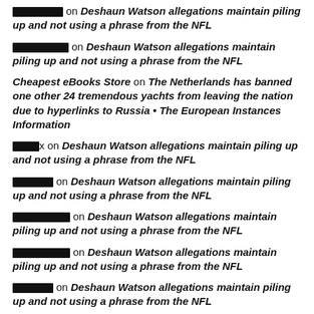[redacted] on Deshaun Watson allegations maintain piling up and not using a phrase from the NFL
[redacted] on Deshaun Watson allegations maintain piling up and not using a phrase from the NFL
Cheapest eBooks Store on The Netherlands has banned one other 24 tremendous yachts from leaving the nation due to hyperlinks to Russia • The European Instances Information
[redacted]x on Deshaun Watson allegations maintain piling up and not using a phrase from the NFL
[redacted] on Deshaun Watson allegations maintain piling up and not using a phrase from the NFL
[redacted] on Deshaun Watson allegations maintain piling up and not using a phrase from the NFL
[redacted] on Deshaun Watson allegations maintain piling up and not using a phrase from the NFL
[redacted] on Deshaun Watson allegations maintain piling up and not using a phrase from the NFL